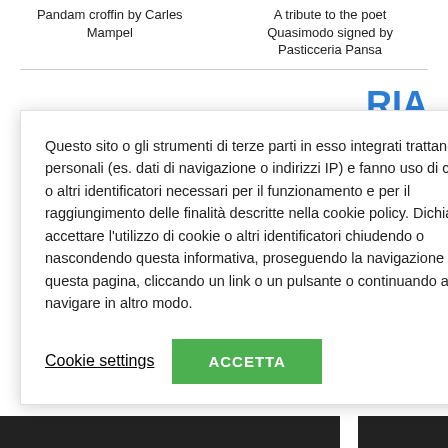Pandam croffin by Carles Mampel
A tribute to the poet Quasimodo signed by Pasticceria Pansa
RIA
elatieri, cioccolatieri,
To - Italy
Questo sito o gli strumenti di terze parti in esso integrati trattano dati personali (es. dati di navigazione o indirizzi IP) e fanno uso di cookie o altri identificatori necessari per il funzionamento e per il raggiungimento delle finalità descritte nella cookie policy. Dichiari di accettare l'utilizzo di cookie o altri identificatori chiudendo o nascondendo questa informativa, proseguendo la navigazione di questa pagina, cliccando un link o un pulsante o continuando a navigare in altro modo.
Cookie settings
ACCETTA